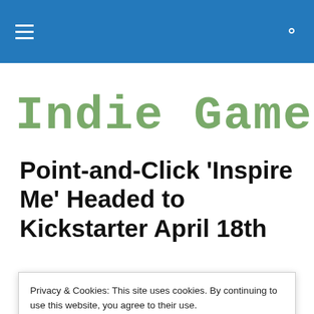Indie Games AAA — navigation bar with hamburger menu and search icon
[Figure (logo): Indie Games AAA logo in green pixel/retro font on white background]
Point-and-Click 'Inspire Me' Headed to Kickstarter April 18th
Privacy & Cookies: This site uses cookies. By continuing to use this website, you agree to their use.
To find out more, including how to control cookies, see here: Cookie Policy
Close and accept
for you. Inspire Me is an upcoming point-and-click from